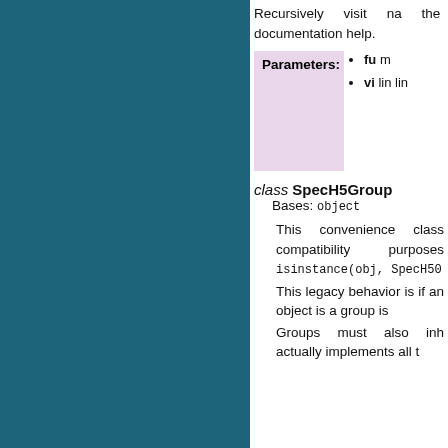Recursively visit na the documentation help.
Parameters: • fu m • vi lin lin
class SpecH5Group
Bases: object
This convenience class compatibility purposes isinstance(obj, SpecH50
This legacy behavior is if an object is a group is
Groups must also inh actually implements all t